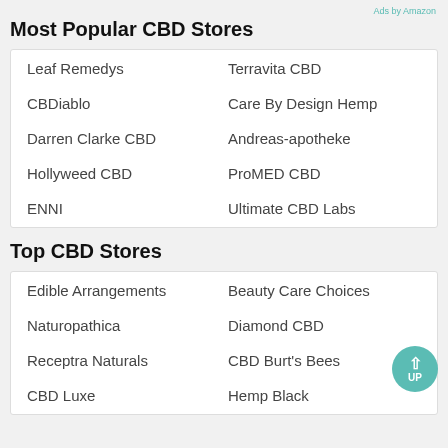Most Popular CBD Stores
Leaf Remedys
Terravita CBD
CBDiablo
Care By Design Hemp
Darren Clarke CBD
Andreas-apotheke
Hollyweed CBD
ProMED CBD
ENNI
Ultimate CBD Labs
Top CBD Stores
Edible Arrangements
Beauty Care Choices
Naturopathica
Diamond CBD
Receptra Naturals
CBD Burt's Bees
CBD Luxe
Hemp Black